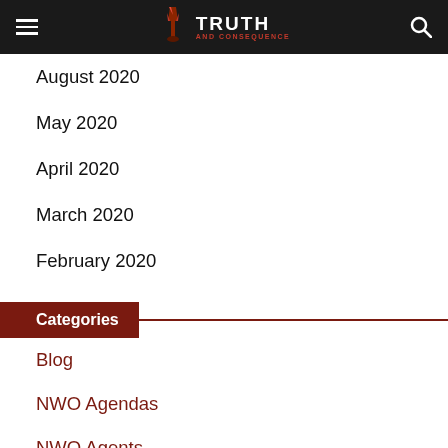Truth and Consequence – Navigation Header
August 2020
May 2020
April 2020
March 2020
February 2020
Categories
Blog
NWO Agendas
NWO Agents
NWO Economy
NWO Groups